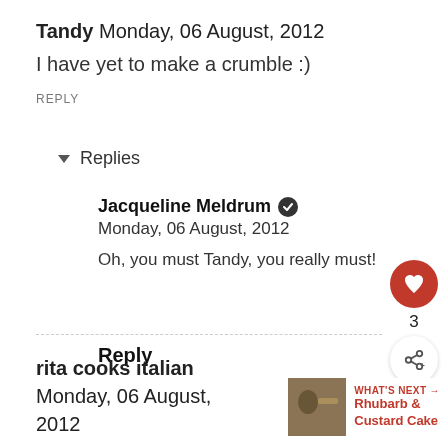Tandy Monday, 06 August, 2012
I have yet to make a crumble :)
REPLY
▾ Replies
Jacqueline Meldrum ✔ Monday, 06 August, 2012
Oh, you must Tandy, you really must!
Reply
rita cooks italian Monday, 06 August, 2012
WHAT'S NEXT → Rhubarb & Custard Cake